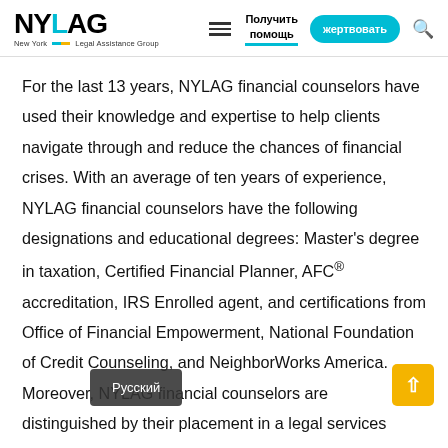NYLAG New York Legal Assistance Group | Получить помощь | жертвовать
For the last 13 years, NYLAG financial counselors have used their knowledge and expertise to help clients navigate through and reduce the chances of financial crises. With an average of ten years of experience, NYLAG financial counselors have the following designations and educational degrees: Master's degree in taxation, Certified Financial Planner, AFC® accreditation, IRS Enrolled agent, and certifications from Office of Financial Empowerment, National Foundation of Credit Counseling, and NeighborWorks America. Moreover, NYLAG financial counselors are distinguished by their placement in a legal services nonprofit organization. We are the only ones in New York...